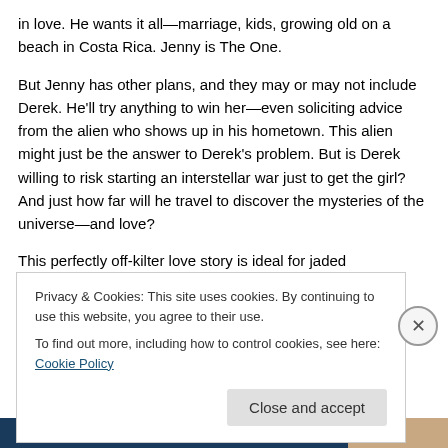in love. He wants it all—marriage, kids, growing old on a beach in Costa Rica. Jenny is The One.
But Jenny has other plans, and they may or may not include Derek. He'll try anything to win her—even soliciting advice from the alien who shows up in his hometown. This alien might just be the answer to Derek's problem. But is Derek willing to risk starting an interstellar war just to get the girl? And just how far will he travel to discover the mysteries of the universe—and love?
This perfectly off-kilter love story is ideal for jaded
Privacy & Cookies: This site uses cookies. By continuing to use this website, you agree to their use.
To find out more, including how to control cookies, see here: Cookie Policy